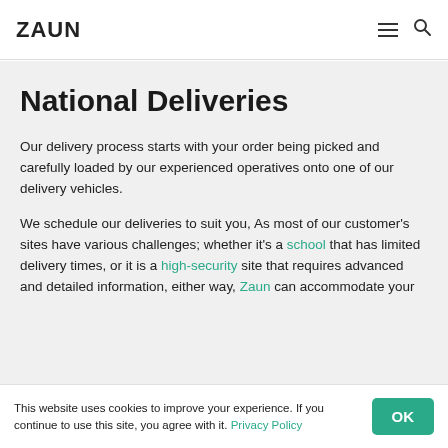ZAUN
National Deliveries
Our delivery process starts with your order being picked and carefully loaded by our experienced operatives onto one of our delivery vehicles.
We schedule our deliveries to suit you, As most of our customer's sites have various challenges; whether it's a school that has limited delivery times, or it is a high-security site that requires advanced and detailed information, either way, Zaun can accommodate your
This website uses cookies to improve your experience. If you continue to use this site, you agree with it. Privacy Policy